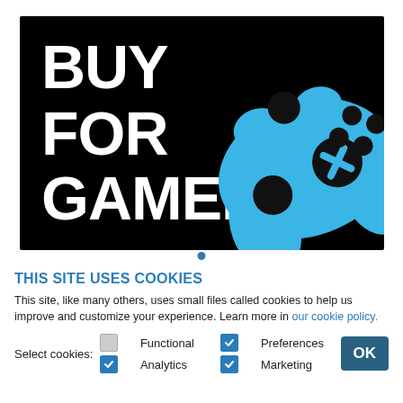[Figure (illustration): Black background banner with white bold text reading 'BUY FOR GAMERS' on the left and a blue game controller illustration on the right]
THIS SITE USES COOKIES
This site, like many others, uses small files called cookies to help us improve and customize your experience. Learn more in our cookie policy.
Select cookies: Functional (unchecked), Preferences (checked), Analytics (checked), Marketing (checked)